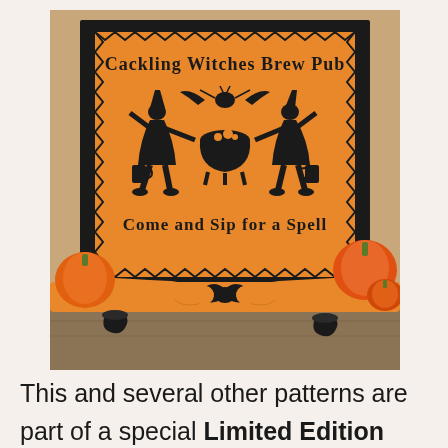[Figure (photo): A cross-stitch embroidery piece on orange fabric mounted in a dark wooden frame. The design reads 'Cackling Witches Brew Pub' at the top and 'Come and Sip for a Spell' at the bottom, with two silhouetted dancing witches around a cauldron in black thread. The framed piece is surrounded by orange pumpkins, black small cauldron props, and an orange and black ribbon bow at the bottom center. Background includes burlap-textured wall and a wooden surface.]
This and several other patterns are part of a special Limited Edition